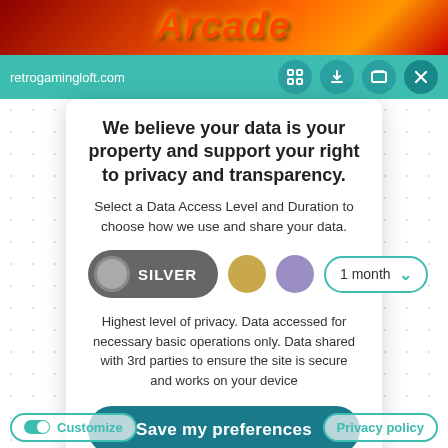[Figure (screenshot): Top banner with retro gaming logo text in red/orange neon style]
retrogamingloft.com
We believe your data is your property and support your right to privacy and transparency.
Select a Data Access Level and Duration to choose how we use and share your data.
[Figure (infographic): SILVER toggle button selected (gray), gold circle, purple circle, and a 1 month dropdown]
Highest level of privacy. Data accessed for necessary basic operations only. Data shared with 3rd parties to ensure the site is secure and works on your device
Save my preferences
Customize
Privacy policy